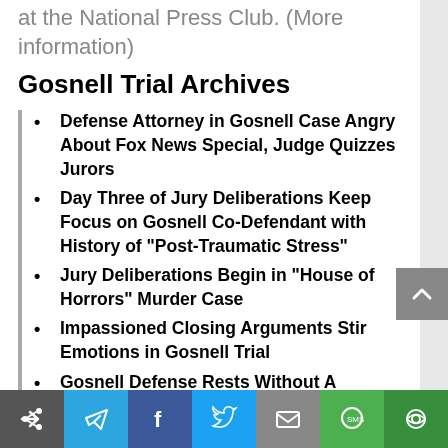at the National Press Club. (More information)
Gosnell Trial Archives
Defense Attorney in Gosnell Case Angry About Fox News Special, Judge Quizzes Jurors
Day Three of Jury Deliberations Keep Focus on Gosnell Co-Defendant with History of “Post-Traumatic Stress”
Jury Deliberations Begin in “House of Horrors” Murder Case
Impassioned Closing Arguments Stir Emotions in Gosnell Trial
Gosnell Defense Rests Without A Witness as Judge Clarifies Murder Charge Dismissal